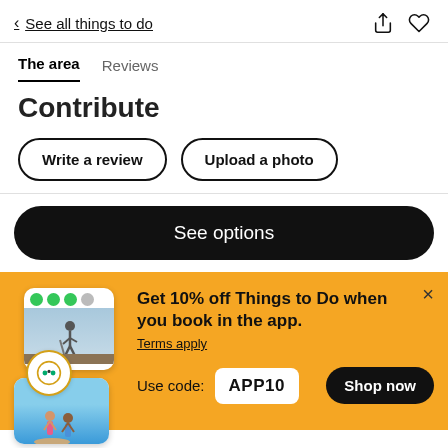< See all things to do
The area | Reviews
Contribute
Write a review
Upload a photo
See options
[Figure (screenshot): App promotional banner with phone mockup images showing a hiker and beach scene, TripAdvisor logo circle badge]
Get 10% off Things to Do when you book in the app.
Terms apply
Use code: APP10
Shop now